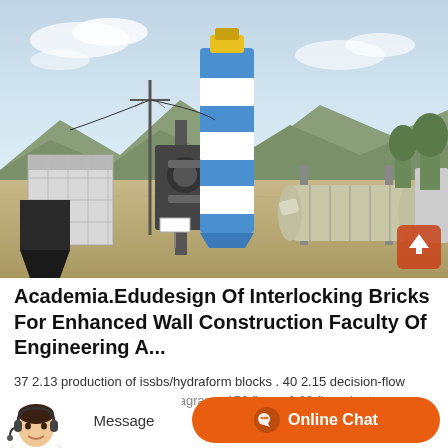[Figure (photo): Industrial construction site with a tall blue and white striped concrete silo/tower, mixing equipment, conveyor belts, and other industrial machinery. Mountains and trees visible in the background under a cloudy sky.]
Academia.Edudesign Of Interlocking Bricks For Enhanced Wall Construction Faculty Of Engineering A...
37 2.13 production of issbs/hydraform blocks . 40 2.15 decision-flow
31 figure 3.1 decision-flow diagram . 176 figure 6.22 flow chart